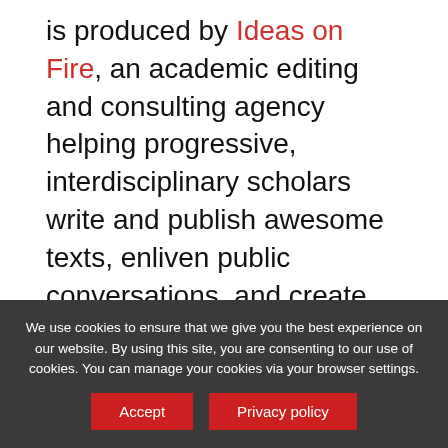is produced by Ideas on Fire, an academic editing and consulting agency helping progressive, interdisciplinary scholars write and publish awesome texts, enliven public conversations, and create more just worlds.
Transcript
Cathy Hannabach [00:03]: [upbeat
We use cookies to ensure that we give you the best experience on our website. By using this site, you are consenting to our use of cookies. You can manage your cookies via your browser settings.